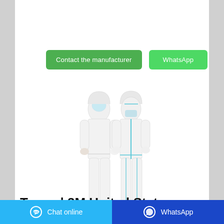[Figure (other): Two people wearing full white medical/hazmat protective coverall suits with face shields and shoe covers]
Contact the manufacturer | WhatsApp
Tapes | 3M United States
Chat online | WhatsApp